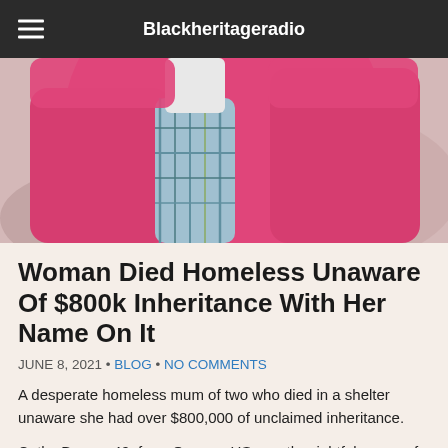Blackheritageradio
[Figure (photo): Person wearing a bright pink/magenta jacket or hoodie, partial view showing torso and arms, outdoor background.]
Woman Died Homeless Unaware Of $800k Inheritance With Her Name On It
JUNE 8, 2021 • BLOG • NO COMMENTS
A desperate homeless mum of two who died in a shelter unaware she had over $800,000 of unclaimed inheritance.
Cathy Boone, 49, from Oregon, US was the rightful owner of the money left to her by her mother who died in 2016 but despite newspaper adverts seeking her and the help of a